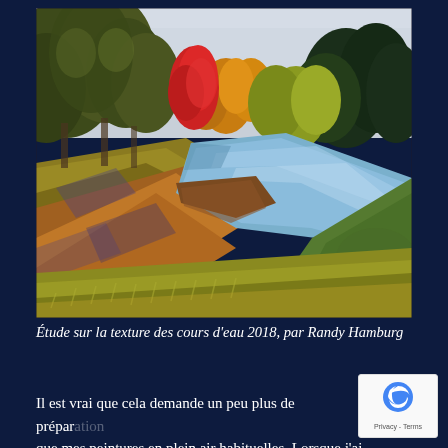[Figure (illustration): Pastel painting of an autumn river landscape with trees in fall colors (green, yellow, red, orange), a winding blue river, grassy banks with golden-green grass in the foreground, and a pale sky. Trees along both banks, including a prominent red tree in the center-left middle distance.]
Étude sur la texture des cours d'eau 2018, par Randy Hamburg
Il est vrai que cela demande un peu plus de prépar... que mes peintures en plein air habituelles. Lorsque j'ai